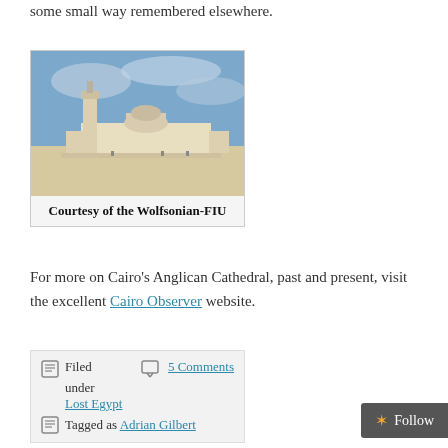some small way remembered elsewhere.
[Figure (photo): Historical photograph of Cairo's Anglican Cathedral, a large neoclassical building with a tall bell tower and wide plaza in front, blue sky background.]
Courtesy of the Wolfsonian-FIU
For more on Cairo's Anglican Cathedral, past and present, visit the excellent Cairo Observer website.
Filed under Lost Egypt  Tagged as Adrian Gilbert  5 Comments